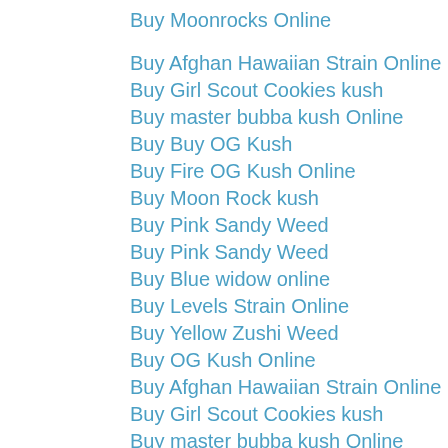Buy Moonrocks Online
Buy Afghan Hawaiian Strain Online
Buy Girl Scout Cookies kush
Buy master bubba kush Online
Buy Buy OG Kush
Buy Fire OG Kush Online
Buy Moon Rock kush
Buy Pink Sandy Weed
Buy Pink Sandy Weed
Buy Blue widow online
Buy Levels Strain Online
Buy Yellow Zushi Weed
Buy OG Kush Online
Buy Afghan Hawaiian Strain Online
Buy Girl Scout Cookies kush
Buy master bubba kush Online
Buy Buy OG Kush
Buy Fire OG Kush Online
Buy Moon Rock kush
Buy Pink Sandy Weed
Buy Pink Sandy Weed